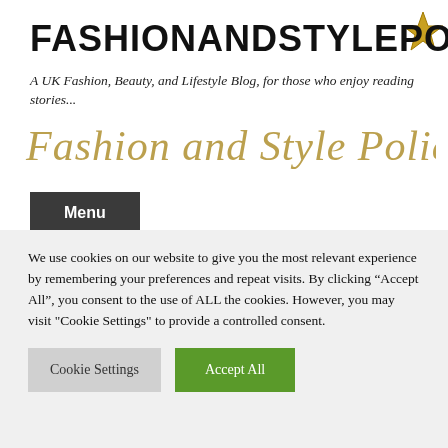FASHIONANDSTYLEPOLICE
A UK Fashion, Beauty, and Lifestyle Blog, for those who enjoy reading stories...
[Figure (logo): Fashion and Style Police cursive script logo in gold/olive color]
Menu
Daily Archives: July 6, 2018
We use cookies on our website to give you the most relevant experience by remembering your preferences and repeat visits. By clicking “Accept All”, you consent to the use of ALL the cookies. However, you may visit "Cookie Settings" to provide a controlled consent.